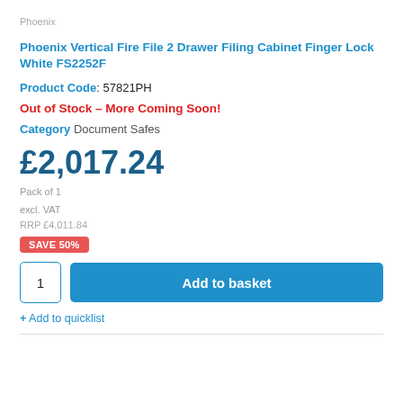Phoenix
Phoenix Vertical Fire File 2 Drawer Filing Cabinet Finger Lock White FS2252F
Product Code: 57821PH
Out of Stock – More Coming Soon!
Category Document Safes
£2,017.24
Pack of 1
excl. VAT
RRP £4,011.84
SAVE 50%
1
Add to basket
+ Add to quicklist